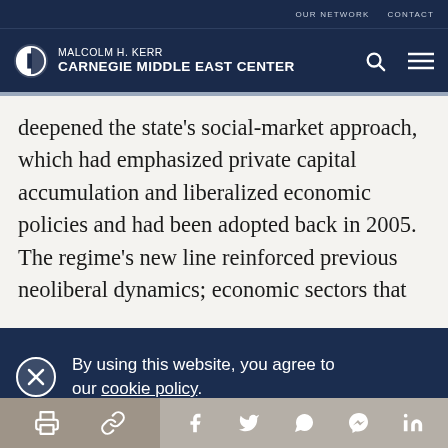OUR NETWORK   CONTACT
MALCOLM H. KERR CARNEGIE MIDDLE EAST CENTER
deepened the state’s social-market approach, which had emphasized private capital accumulation and liberalized economic policies and had been adopted back in 2005. The regime’s new line reinforced previous neoliberal dynamics; economic sectors that
By using this website, you agree to our cookie policy.